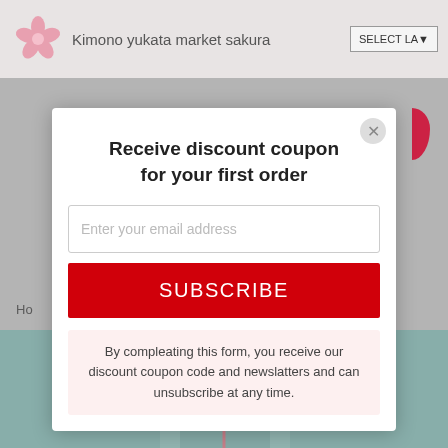Kimono yukata market sakura   SELECT LA▼
Ho
Receive discount coupon
for your first order
Enter your email address
SUBSCRIBE
By compleating this form, you receive our discount coupon code and newslatters and can unsubscribe at any time.
[Figure (screenshot): Website screenshot showing Kimono yukata market sakura with a popup modal offering a discount coupon for first order. Modal contains email input, subscribe button, and disclaimer text.]